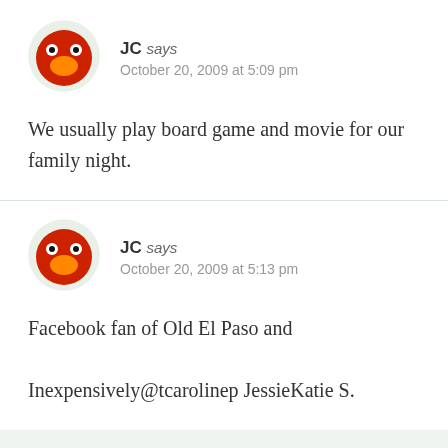[Figure (photo): Circular avatar image of an Elmo-like red cartoon character with orange nose and black eyes]
JC says
October 20, 2009 at 5:09 pm
We usually play board game and movie for our family night.
[Figure (photo): Circular avatar image of an Elmo-like red cartoon character with orange nose and black eyes]
JC says
October 20, 2009 at 5:13 pm
Facebook fan of Old El Paso and Inexpensively@tcarolinep JessieKatie S.